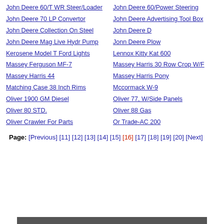John Deere 60/T WR Steer/Loader
John Deere 60/Power Steering
John Deere 70 LP Convertor
John Deere Advertising Tool Box
John Deere Collection On Steel
John Deere D
John Deere Mag Live Hydr Pump
Jonn Deere Plow
Kerosene Model T Ford Lights
Lennox Kitty Kat 600
Massey Ferguson MF-7
Massey Harris 30 Row Crop W/F
Massey Harris 44
Massey Harris Pony
Matching Case 38 Inch Rims
Mccormack W-9
Oliver 1900 GM Diesel
Oliver 77, W/Side Panels
Oliver 80 STD.
Oliver 88 Gas
Oliver Crawler For Parts
Or Trade-AC 200
Page: [Previous] [11] [12] [13] [14] [15] [16] [17] [18] [19] [20] [Next]